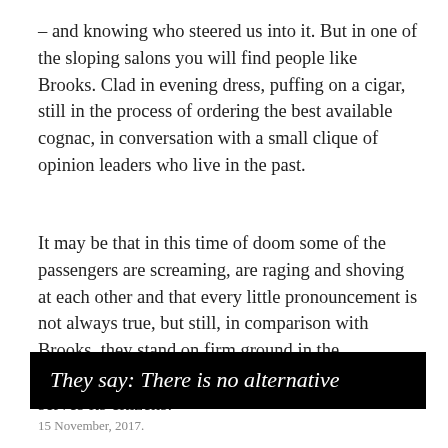– and knowing who steered us into it. But in one of the sloping salons you will find people like Brooks. Clad in evening dress, puffing on a cigar, still in the process of ordering the best available cognac, in conversation with a small clique of opinion leaders who live in the past.
It may be that in this time of doom some of the passengers are screaming, are raging and shoving at each other and that every little pronouncement is not always true, but still, in comparison with Brooks, they stand on firm ground in the understanding that our society no longer primarily serves its citizens.
They say: There is no alternative
15 November, 2017.